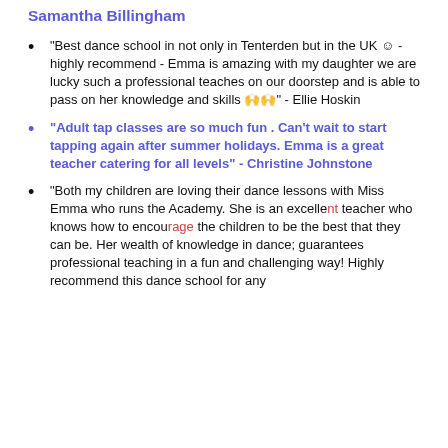Samantha Billingham
"Best dance school in not only in Tenterden but in the UK ☺ - highly recommend - Emma is amazing with my daughter we are lucky such a professional teaches on our doorstep and is able to pass on her knowledge and skills 🙌🙌" - Ellie Hoskin
"Adult tap classes are so much fun . Can't wait to start tapping again after summer holidays. Emma is a great teacher catering for all levels" - Christine Johnstone
"Both my children are loving their dance lessons with Miss Emma who runs the Academy. She is an excellent teacher who knows how to encourage the children to be the best that they can be. Her wealth of knowledge in dance; guarantees professional teaching in a fun and challenging way! Highly recommend this dance school for any